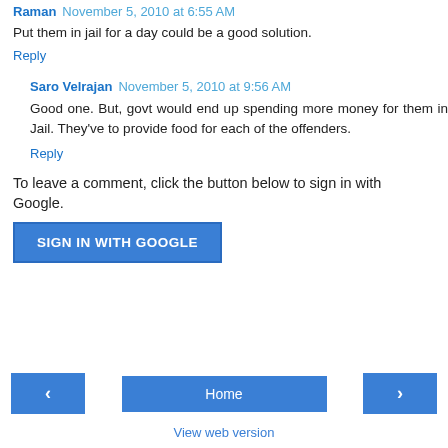Raman November 5, 2010 at 6:55 AM
Put them in jail for a day could be a good solution.
Reply
Saro Velrajan November 5, 2010 at 9:56 AM
Good one. But, govt would end up spending more money for them in Jail. They've to provide food for each of the offenders.
Reply
To leave a comment, click the button below to sign in with Google.
[Figure (other): SIGN IN WITH GOOGLE button]
[Figure (other): Navigation bar with back arrow, Home button, and forward arrow]
View web version